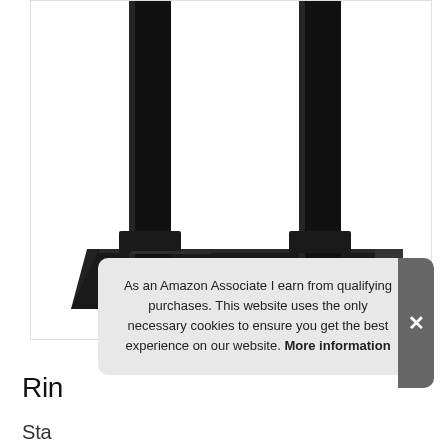[Figure (photo): Product photo showing the metal base and two vertical black uprights of a monitor/display stand. The base is a rectangular black metal platform with rubber feet and adjustment knobs. The uprights are square black metal poles extending upward from the base.]
As an Amazon Associate I earn from qualifying purchases. This website uses the only necessary cookies to ensure you get the best experience on our website. More information
Rin
Sta